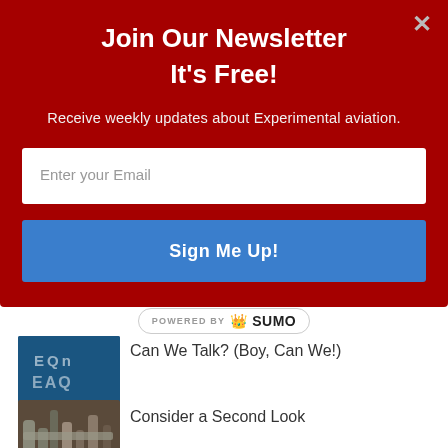Join Our Newsletter
It's Free!
Receive weekly updates about Experimental aviation.
Enter your Email
Sign Me Up!
POWERED BY SUMO
Can We Talk? (Boy, Can We!)
[Figure (photo): Blue sky with white skywriting letters EAA or similar]
Consider a Second Look
[Figure (photo): Close-up of metal tubes/pipes, mechanical/aircraft structure]